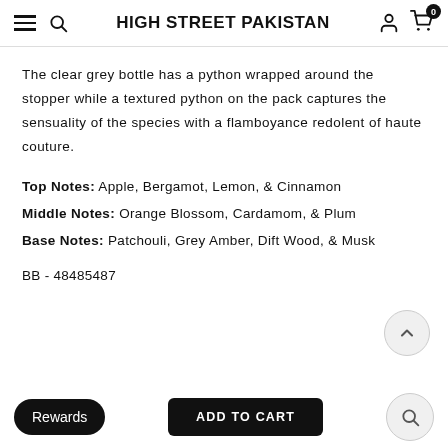HIGH STREET PAKISTAN
The clear grey bottle has a python wrapped around the stopper while a textured python on the pack captures the sensuality of the species with a flamboyance redolent of haute couture.
Top Notes: Apple, Bergamot, Lemon, & Cinnamon
Middle Notes: Orange Blossom, Cardamom, & Plum
Base Notes: Patchouli, Grey Amber, Dift Wood, & Musk
BB - 48485487
CUSTOMER REVIEWS